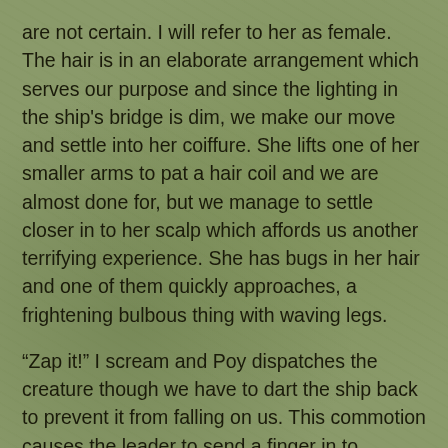are not certain. I will refer to her as female. The hair is in an elaborate arrangement which serves our purpose and since the lighting in the ship's bridge is dim, we make our move and settle into her coiffure. She lifts one of her smaller arms to pat a hair coil and we are almost done for, but we manage to settle closer in to her scalp which affords us another terrifying experience. She has bugs in her hair and one of them quickly approaches, a frightening bulbous thing with waving legs.
“Zap it!” I scream and Poy dispatches the creature though we have to dart the ship back to prevent it from falling on us. This commotion causes the leader to send a finger in to scratch and we need to make a dash through her forest of hair to a safer spot. The scratching finger causes quite a disturbance from which takes us time to recover plus now we have to be on the lookout